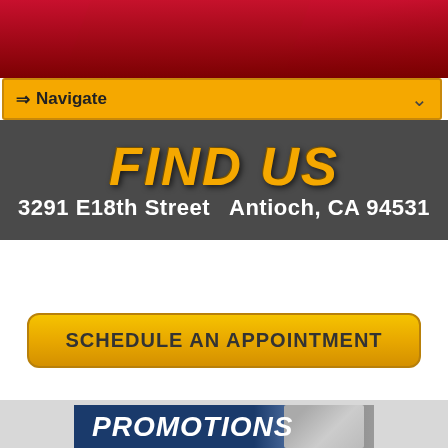[Figure (screenshot): Red gradient website header banner]
⇒ Navigate
FIND US
3291 E18th Street  Antioch, CA 94531
SCHEDULE AN APPOINTMENT
[Figure (screenshot): Promotions banner with blue background and photo of mechanic]